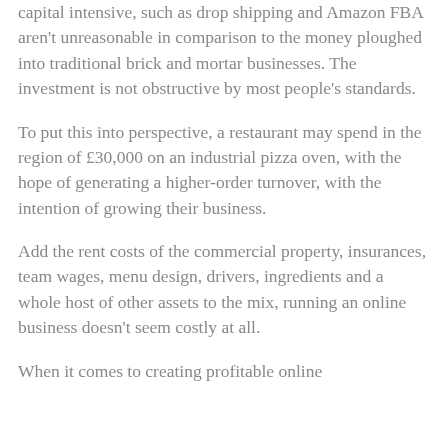capital intensive, such as drop shipping and Amazon FBA aren't unreasonable in comparison to the money ploughed into traditional brick and mortar businesses. The investment is not obstructive by most people's standards.
To put this into perspective, a restaurant may spend in the region of £30,000 on an industrial pizza oven, with the hope of generating a higher-order turnover, with the intention of growing their business.
Add the rent costs of the commercial property, insurances, team wages, menu design, drivers, ingredients and a whole host of other assets to the mix, running an online business doesn't seem costly at all.
When it comes to creating profitable online